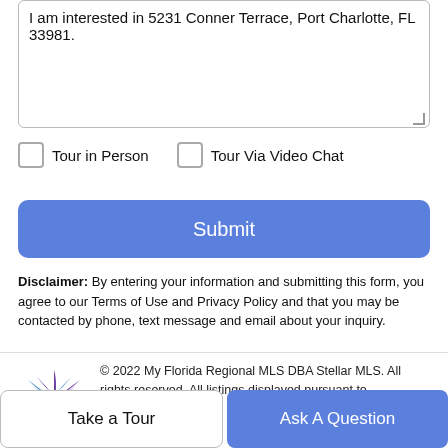I am interested in 5231 Conner Terrace, Port Charlotte, FL 33981.
Tour in Person
Tour Via Video Chat
Submit
Disclaimer: By entering your information and submitting this form, you agree to our Terms of Use and Privacy Policy and that you may be contacted by phone, text message and email about your inquiry.
© 2022 My Florida Regional MLS DBA Stellar MLS. All rights reserved. All listings displayed pursuant to
Take a Tour
Ask A Question